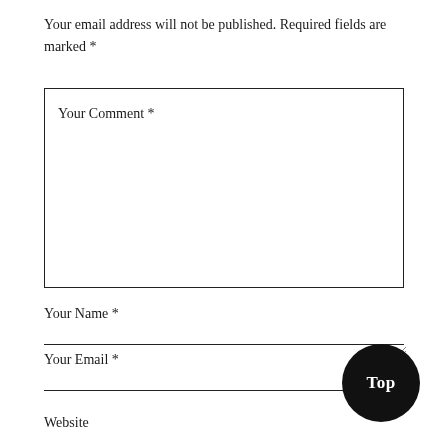Your email address will not be published. Required fields are marked *
Your Comment *
Your Name *
Your Email *
Top
Website